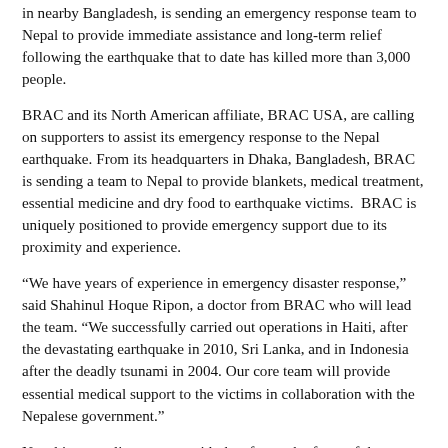in nearby Bangladesh, is sending an emergency response team to Nepal to provide immediate assistance and long-term relief following the earthquake that to date has killed more than 3,000 people.
BRAC and its North American affiliate, BRAC USA, are calling on supporters to assist its emergency response to the Nepal earthquake. From its headquarters in Dhaka, Bangladesh, BRAC is sending a team to Nepal to provide blankets, medical treatment, essential medicine and dry food to earthquake victims.  BRAC is uniquely positioned to provide emergency support due to its proximity and experience.
“We have years of experience in emergency disaster response,” said Shahinul Hoque Ripon, a doctor from BRAC who will lead the team. “We successfully carried out operations in Haiti, after the devastating earthquake in 2010, Sri Lanka, and in Indonesia after the deadly tsunami in 2004. Our core team will provide essential medical support to the victims in collaboration with the Nepalese government.”
Nepal is struggling to cope with the aftermath of one of the strongest earthquakes in recent history, which has killed more than 3,000 people to date.
“We are grateful to the people of Bangladesh for their genuine